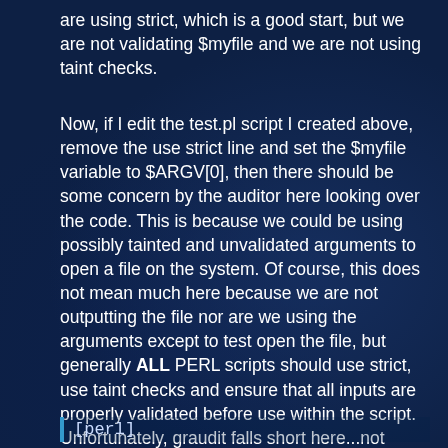are using strict, which is a good start, but we are not validating $myfile and we are not using taint checks.
Now, if I edit the test.pl script I created above, remove the use strict line and set the $myfile variable to $ARGV[0], then there should be some concern by the auditor here looking over the code. This is because we could be using possibly tainted and unvalidated arguments to open a file on the system. Of course, this does not mean much here because we are not outputting the file nor are we using the arguments except to test open the file, but generally ALL PERL scripts should use strict, use taint checks and ensure that all inputs are properly validated before use within the script. Unfortunately, graudit falls short here...not picking up on the real security issues...
[perl]